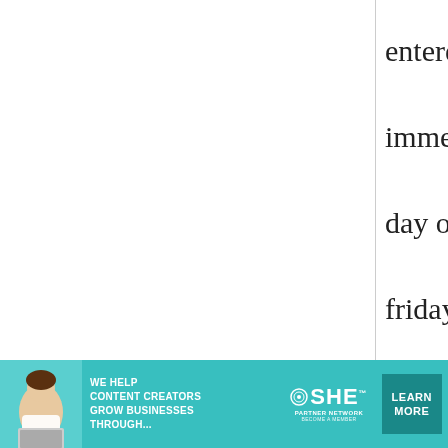entered a japanese immersion program; his first day of kindergarten was friday! i bought some bento boxes and will make him a lunch every day with at least one japanese food to broaden his eating horizons. because he is in the program, we are
[Figure (infographic): Advertisement banner for SHE Partner Network. Teal/turquoise background with woman photo on left, text 'WE HELP CONTENT CREATORS GROW BUSINESSES THROUGH...' in white bold, SHE Media logo in center, and 'LEARN MORE' button on right.]